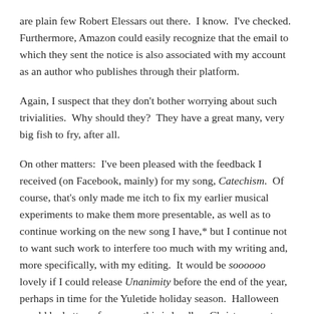are plain few Robert Elessars out there.  I know.  I've checked.  Furthermore, Amazon could easily recognize that the email to which they sent the notice is also associated with my account as an author who publishes through their platform.
Again, I suspect that they don't bother worrying about such trivialities.  Why should they?  They have a great many, very big fish to fry, after all.
On other matters:  I've been pleased with the feedback I received (on Facebook, mainly) for my song, Catechism.  Of course, that's only made me itch to fix my earlier musical experiments to make them more presentable, as well as to continue working on the new song I have,* but I continue not to want such work to interfere too much with my writing and, more specifically, with my editing.  It would be soooooo lovely if I could release Unanimity before the end of the year, perhaps in time for the Yuletide holiday season.  Halloween would be better, of course—this is hardly a Christmassy story—but that's almost certainly a